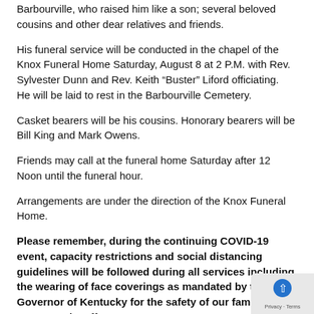Barbourville, who raised him like a son; several beloved cousins and other dear relatives and friends.
His funeral service will be conducted in the chapel of the Knox Funeral Home Saturday, August 8 at 2 P.M. with Rev. Sylvester Dunn and Rev. Keith “Buster” Liford officiating.  He will be laid to rest in the Barbourville Cemetery.
Casket bearers will be his cousins. Honorary bearers will be Bill King and Mark Owens.
Friends may call at the funeral home Saturday after 12 Noon until the funeral hour.
Arrangements are under the direction of the Knox Funeral Home.
Please remember, during the continuing COVID-19 event, capacity restrictions and social distancing guidelines will be followed during all services including the wearing of face coverings as mandated by the Governor of Kentucky for the safety of our families, guests and staff.
Send a condolence to the family of TEDDY MICHAEL